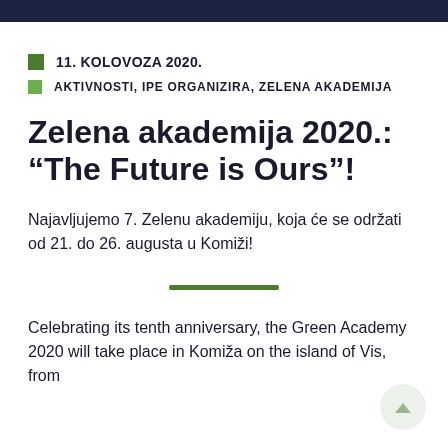11. KOLOVOZA 2020.
AKTIVNOSTI, IPE ORGANIZIRA, ZELENA AKADEMIJA
Zelena akademija 2020.: “The Future is Ours”!
Najavljujemo 7. Zelenu akademiju, koja će se održati od 21. do 26. augusta u Komiži!
Celebrating its tenth anniversary, the Green Academy 2020 will take place in Komiža on the island of Vis, from